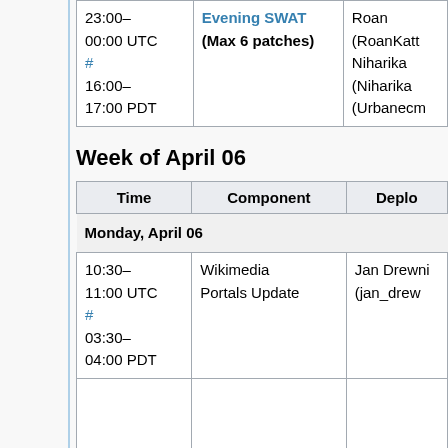| Time | Component | Deployer |
| --- | --- | --- |
| 23:00–00:00 UTC # 16:00–17:00 PDT | Evening SWAT (Max 6 patches) | Roan (RoanKatt Niharika (Niharika (Urbanecm |
Week of April 06
| Time | Component | Deplo... |
| --- | --- | --- |
| Monday, April 06 |  |  |
| 10:30–11:00 UTC # 03:30–04:00 PDT | Wikimedia Portals Update | Jan Drewni (jan_drew... |
|  |  |  |